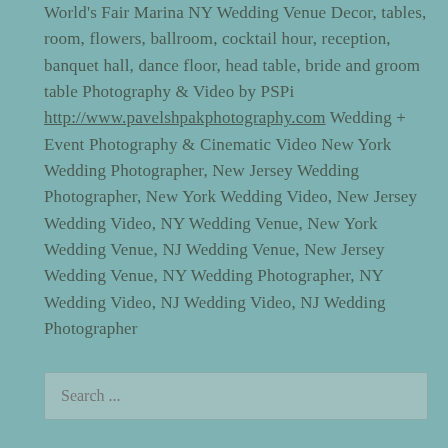World's Fair Marina NY Wedding Venue Decor, tables, room, flowers, ballroom, cocktail hour, reception, banquet hall, dance floor, head table, bride and groom table Photography & Video by PSPi http://www.pavelshpakphotography.com Wedding + Event Photography & Cinematic Video New York Wedding Photographer, New Jersey Wedding Photographer, New York Wedding Video, New Jersey Wedding Video, NY Wedding Venue, New York Wedding Venue, NJ Wedding Venue, New Jersey Wedding Venue, NY Wedding Photographer, NY Wedding Video, NJ Wedding Video, NJ Wedding Photographer
Search ...